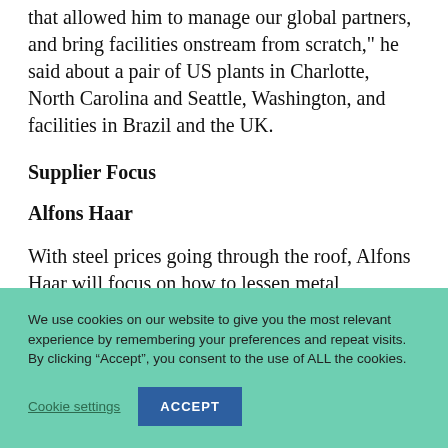manufacturing, technical and sales experience that allowed him to manage our global partners, and bring facilities onstream from scratch," he said about a pair of US plants in Charlotte, North Carolina and Seattle, Washington, and facilities in Brazil and the UK.
Supplier Focus
Alfons Haar
With steel prices going through the roof, Alfons Haar will focus on how to lessen metal
We use cookies on our website to give you the most relevant experience by remembering your preferences and repeat visits. By clicking “Accept”, you consent to the use of ALL the cookies.
Cookie settings   ACCEPT